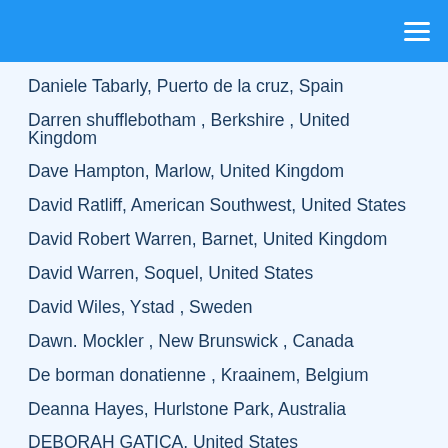Daniele Tabarly, Puerto de la cruz, Spain
Darren shufflebotham , Berkshire , United Kingdom
Dave Hampton, Marlow, United Kingdom
David Ratliff, American Southwest, United States
David Robert Warren, Barnet, United Kingdom
David Warren, Soquel, United States
David Wiles, Ystad , Sweden
Dawn. Mockler , New Brunswick , Canada
De borman donatienne , Kraainem, Belgium
Deanna Hayes, Hurlstone Park, Australia
DEBORAH GATICA, United States
Deborah Luscomb, Maritimes, Canada
Denis Greenan , Latina , Italy
Derek Benedict, United States